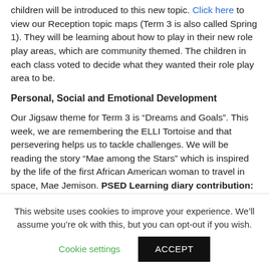children will be introduced to this new topic. Click here to view our Reception topic maps (Term 3 is also called Spring 1). They will be learning about how to play in their new role play areas, which are community themed. The children in each class voted to decide what they wanted their role play area to be.
Personal, Social and Emotional Development
Our Jigsaw theme for Term 3 is “Dreams and Goals”. This week, we are remembering the ELLI Tortoise and that persevering helps us to tackle challenges. We will be reading the story “Mae among the Stars” which is inspired by the life of the first African American woman to travel in space, Mae Jemison. PSED Learning diary contribution:
This website uses cookies to improve your experience. We’ll assume you’re ok with this, but you can opt-out if you wish.
Cookie settings   ACCEPT